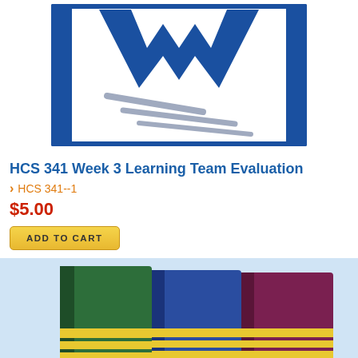[Figure (illustration): Decorative header image showing a Microsoft Word-like document icon with blue W logo, white background with diagonal lines, blue border frame]
HCS 341 Week 3 Learning Team Evaluation
HCS 341--1
$5.00
ADD TO CART
[Figure (illustration): Three hardcover books standing upright side by side: green, blue, and dark red/maroon, each with yellow/gold horizontal stripes on the spine, on a light blue background]